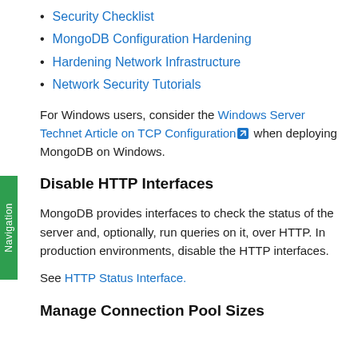Security Checklist
MongoDB Configuration Hardening
Hardening Network Infrastructure
Network Security Tutorials
For Windows users, consider the Windows Server Technet Article on TCP Configuration [external link] when deploying MongoDB on Windows.
Disable HTTP Interfaces
MongoDB provides interfaces to check the status of the server and, optionally, run queries on it, over HTTP. In production environments, disable the HTTP interfaces.
See HTTP Status Interface.
Manage Connection Pool Sizes